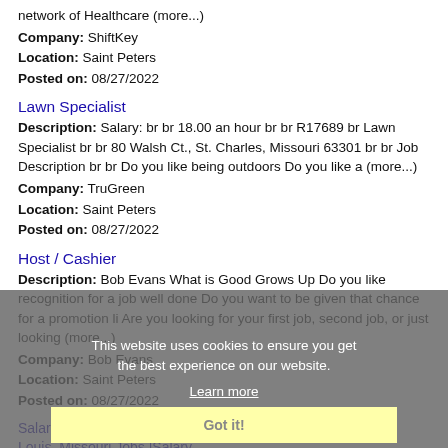network of Healthcare (more...)
Company: ShiftKey
Location: Saint Peters
Posted on: 08/27/2022
Lawn Specialist
Description: Salary: br br 18.00 an hour br br R17689 br Lawn Specialist br br 80 Walsh Ct., St. Charles, Missouri 63301 br br Job Description br br Do you like being outdoors Do you like a (more...)
Company: TruGreen
Location: Saint Peters
Posted on: 08/27/2022
Host / Cashier
Description: Bob Evans What is Good Grows Up Do you like recognition for a job well done Do you want to be given that chance for a promotion li Are you looking for your first job, second job, or just looking (more...)
Company: Bob Evans
Location: Saint Peters
Posted on: 08/27/2022
This website uses cookies to ensure you get the best experience on our website.
Learn more
Got it!
Salary in St. Louis, Missouri Area | More details for St. Louis, Missouri Jobs |Salary